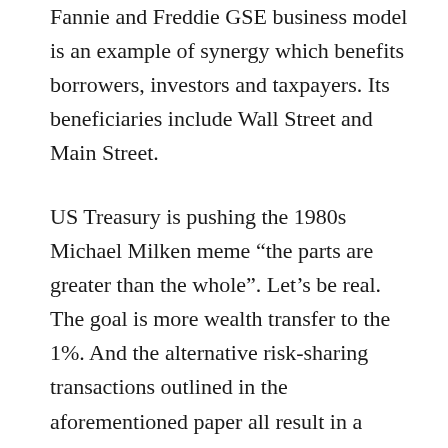Fannie and Freddie GSE business model is an example of synergy which benefits borrowers, investors and taxpayers. Its beneficiaries include Wall Street and Main Street.
US Treasury is pushing the 1980s Michael Milken meme “the parts are greater than the whole”. Let’s be real. The goal is more wealth transfer to the 1%. And the alternative risk-sharing transactions outlined in the aforementioned paper all result in a transfer of benefits from Main Street to Wall Street. Cuz the effect is costlier transactions. Born by borrowers and taxpayers. As well as outright theft of